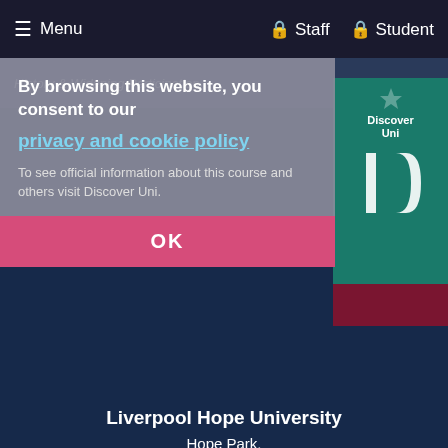Menu  Staff  Student
By browsing this website, you consent to our privacy and cookie policy
To see official information about this course and others visit Discover Uni.
OK
Liverpool Hope University
Hope Park,
Liverpool
L16 9JD
+44 (0)151 291 3000
enquiry@hope.ac.uk
© 2021 Liverpool Hope University
Privacy Policy and Cookies
Site Map
Terms and Conditions
Quick Links